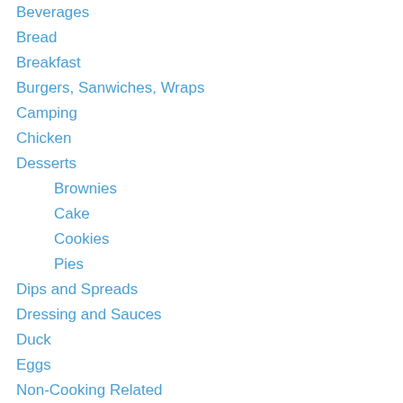Beverages
Bread
Breakfast
Burgers, Sanwiches, Wraps
Camping
Chicken
Desserts
Brownies
Cake
Cookies
Pies
Dips and Spreads
Dressing and Sauces
Duck
Eggs
Non-Cooking Related
Parties
Pasta
Pizza
Pork